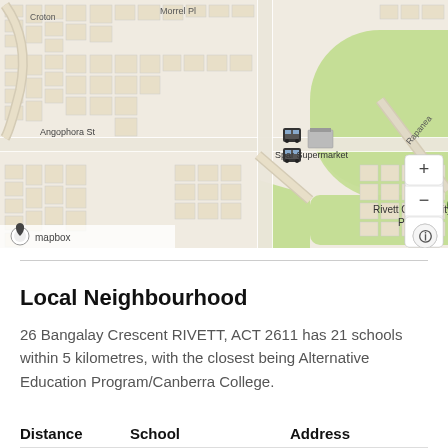[Figure (map): Street map showing Rivett suburb area with Rivett Oval (green park), Rivett Community Park, Spar Supermarket, Angophora St, Morrel Pl, Croton street, Rapanea street, bus stop icons, map pin on Rivett Oval, mapbox branding, and zoom/navigation controls.]
Local Neighbourhood
26 Bangalay Crescent RIVETT, ACT 2611 has 21 schools within 5 kilometres, with the closest being Alternative Education Program/Canberra College.
| Distance | School | Address |
| --- | --- | --- |